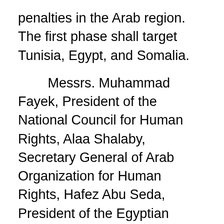penalties in the Arab region. The first phase shall target Tunisia, Egypt, and Somalia. Messrs. Muhammad Fayek, President of the National Council for Human Rights, Alaa Shalaby, Secretary General of Arab Organization for Human Rights, Hafez Abu Seda, President of the Egyptian Organization for Human Rights, Alaa Abed, Chairman of Human Rights Committee, Egyptian House of Representatives, and Ms. Elisabetta Zamparutti, President of Hands Off Cain (HOC), Italy, and MP Margaret Azaar, House of Representatives, inaugurated the workshop.